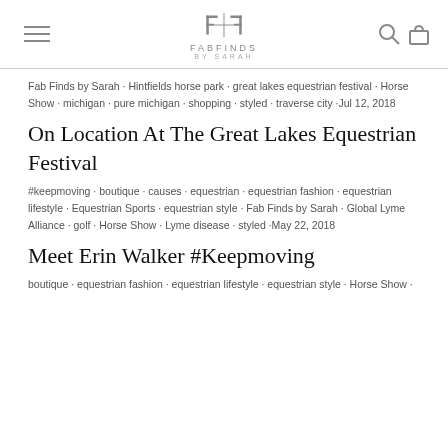FAB FINDS BY SARAH
Fab Finds by Sarah · Hintfields horse park · great lakes equestrian festival · Horse Show · michigan · pure michigan · shopping · styled · traverse city ·Jul 12, 2018
On Location At The Great Lakes Equestrian Festival
#keepmoving · boutique · causes · equestrian · equestrian fashion · equestrian lifestyle · Equestrian Sports · equestrian style · Fab Finds by Sarah · Global Lyme Alliance · golf · Horse Show · Lyme disease · styled ·May 22, 2018
Meet Erin Walker #Keepmoving
boutique · equestrian fashion · equestrian lifestyle · equestrian style · Horse Show ·